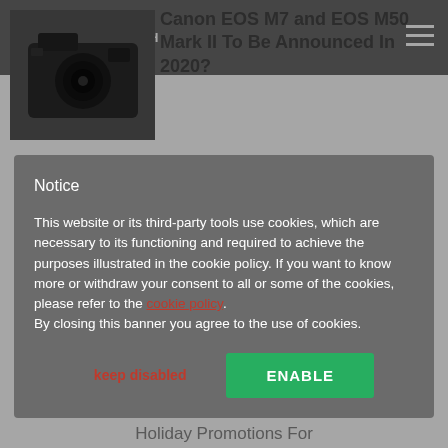CANON WATCH
Canon EOS M7 and EOS M50 Mark II To Be Announced In 2020?
Here is a follow up on the rumor about the new Canon EOS M cameras that might be announced in 2020, the EOS
Notice
This website or its third-party tools use cookies, which are necessary to its functioning and required to achieve the purposes illustrated in the cookie policy. If you want to know more or withdraw your consent to all or some of the cookies, please refer to the cookie policy.
By closing this banner you agree to the use of cookies.
keep disabled
ENABLE
Holiday Promotions For